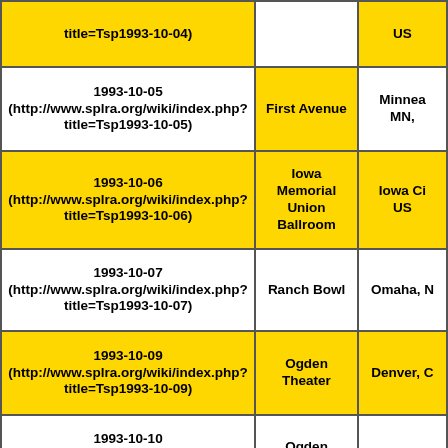| Date/Link | Venue | Location |
| --- | --- | --- |
| (http://www.splra.org/wiki/index.php?title=Tsp1993-10-04) |  | US |
| 1993-10-05
(http://www.splra.org/wiki/index.php?title=Tsp1993-10-05) | First Avenue | Minneapolis, MN, |
| 1993-10-06
(http://www.splra.org/wiki/index.php?title=Tsp1993-10-06) | Iowa Memorial Union Ballroom | Iowa City, US |
| 1993-10-07
(http://www.splra.org/wiki/index.php?title=Tsp1993-10-07) | Ranch Bowl | Omaha, N |
| 1993-10-09
(http://www.splra.org/wiki/index.php?title=Tsp1993-10-09) | Ogden Theater | Denver, C |
| 1993-10-10
(http://www.splra.org/wiki/index.php?title=Tsp1993-10-10) | Ogden Theater | Denver, C |
| 1993-10-11
(http://www.splra.org/wiki/index.php?title=Tsp1993-10-11) | Fairpark Coliseum | Salt Lake City, UT, |
| 1993-10-13 |  | Portland |